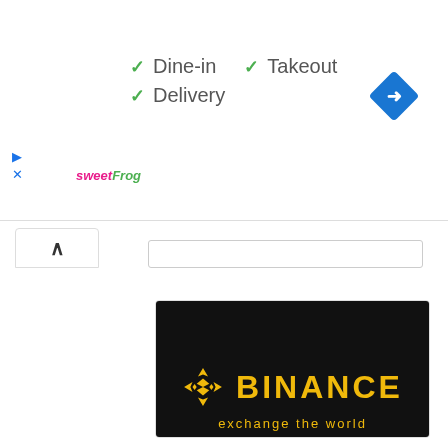[Figure (logo): sweetFrog logo in pink and green italic text]
✓ Dine-in  ✓ Takeout
✓ Delivery
[Figure (logo): Google Maps blue navigation diamond icon]
[Figure (screenshot): Binance dark banner with gold logo and text 'exchange the world']
Binance Review 2022 – Should You Use ...